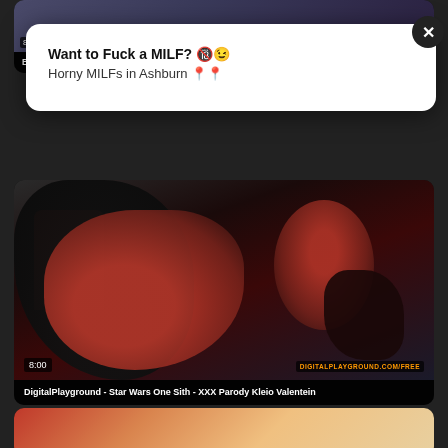[Figure (screenshot): Partially visible video thumbnail at top - appears to be a video card]
[Figure (screenshot): Advertisement popup overlay: 'Want to Fuck a MILF? Horny MILFs in Ashburn' with close button]
Want to Fuck a MILF? 🔞
Horny MILFs in Ashburn 📍📍
Brazzers - Brazzers Exxtra - Romi Rain and Charles Dera - Wonder Woman A XXX Parody
[Figure (screenshot): Video thumbnail showing costumed figures in sci-fi/fantasy costumes, DigitalPlayground branding, 8:00 duration]
DigitalPlayground - Star Wars One Sith - XXX Parody Kleio Valentein
[Figure (screenshot): Partially visible video thumbnail at bottom]